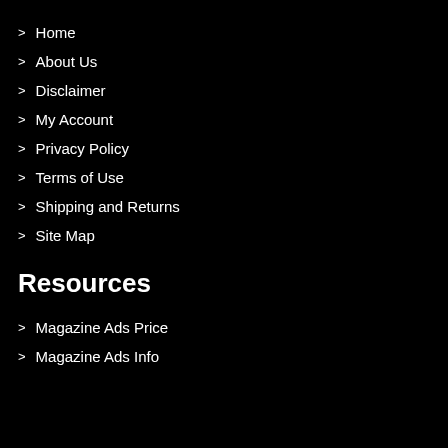Home
About Us
Disclaimer
My Account
Privacy Policy
Terms of Use
Shipping and Returns
Site Map
Resources
Magazine Ads Price
Magazine Ads Info